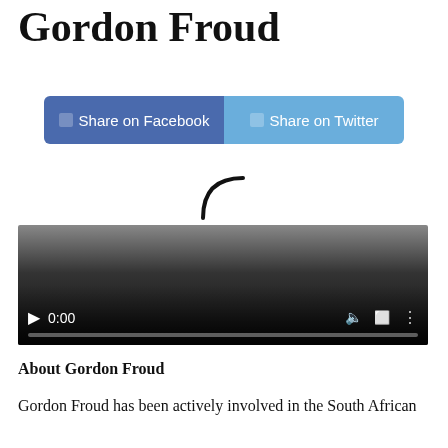Gordon Froud
[Figure (screenshot): Share on Facebook and Share on Twitter buttons side by side]
[Figure (screenshot): Video player showing a loading spinner and playback controls with time 0:00]
About Gordon Froud
Gordon Froud has been actively involved in the South African